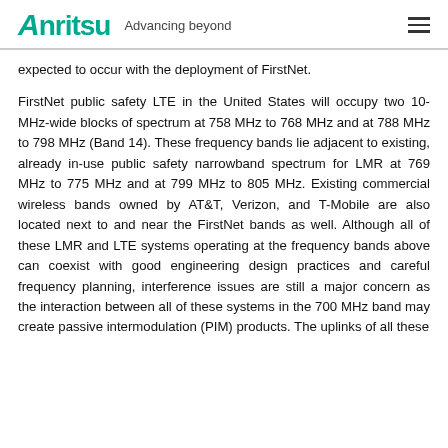Anritsu Advancing beyond
expected to occur with the deployment of FirstNet.
FirstNet public safety LTE in the United States will occupy two 10-MHz-wide blocks of spectrum at 758 MHz to 768 MHz and at 788 MHz to 798 MHz (Band 14). These frequency bands lie adjacent to existing, already in-use public safety narrowband spectrum for LMR at 769 MHz to 775 MHz and at 799 MHz to 805 MHz. Existing commercial wireless bands owned by AT&T, Verizon, and T-Mobile are also located next to and near the FirstNet bands as well. Although all of these LMR and LTE systems operating at the frequency bands above can coexist with good engineering design practices and careful frequency planning, interference issues are still a major concern as the interaction between all of these systems in the 700 MHz band may create passive intermodulation (PIM) products. The uplinks of all these